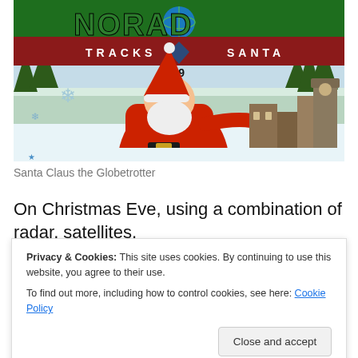[Figure (illustration): NORAD Tracks Santa 2009 banner image showing Santa Claus standing in a snowy winter scene with buildings, a snowflake decoration, and the red scroll banner reading TRACKS SANTA 2009]
Santa Claus the Globetrotter
On Christmas Eve, using a combination of radar, satellites,
Privacy & Cookies: This site uses cookies. By continuing to use this website, you agree to their use.
To find out more, including how to control cookies, see here: Cookie Policy
Close and accept